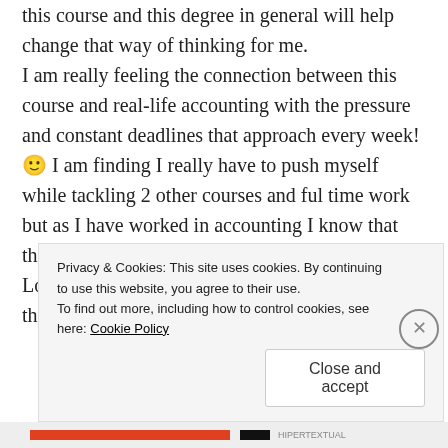this course and this degree in general will help change that way of thinking for me. I am really feeling the connection between this course and real-life accounting with the pressure and constant deadlines that approach every week! 🙂 I am finding I really have to push myself while tackling 2 other courses and ful time work but as I have worked in accounting I know that this is common, so this course is good practice! Looking forward to gaining new knowledge from this...
Privacy & Cookies: This site uses cookies. By continuing to use this website, you agree to their use. To find out more, including how to control cookies, see here: Cookie Policy
Close and accept